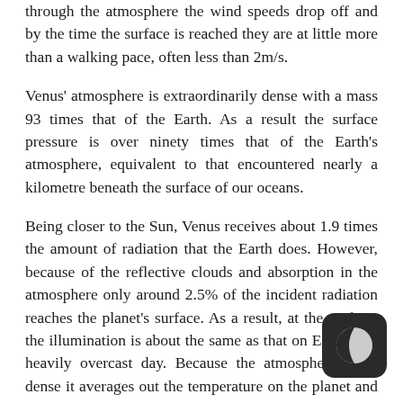through the atmosphere the wind speeds drop off and by the time the surface is reached they are at little more than a walking pace, often less than 2m/s.
Venus' atmosphere is extraordinarily dense with a mass 93 times that of the Earth. As a result the surface pressure is over ninety times that of the Earth's atmosphere, equivalent to that encountered nearly a kilometre beneath the surface of our oceans.
Being closer to the Sun, Venus receives about 1.9 times the amount of radiation that the Earth does. However, because of the reflective clouds and absorption in the atmosphere only around 2.5% of the incident radiation reaches the planet's surface. As a result, at the surface, the illumination is about the same as that on Earth on a heavily overcast day. Because the atmosphere is so dense it averages out the temperature on the planet and there is little difference between the night and day sides.